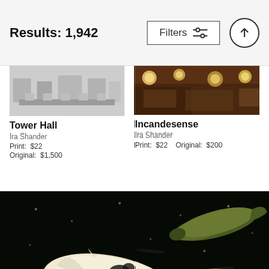Results: 1,942
Filters
[Figure (photo): Black and white photo of Tower Hall interior with tables and chairs]
Tower Hall
Ira Shander
Print: $22
Original: $1,500
[Figure (photo): Warm interior restaurant photo with hanging globe lights, wood paneling — Incandesense]
Incandesense
Ira Shander
Print: $22   Original: $200
[Figure (photo): Close-up photo of koi fish swimming against a dark background, yellow/gold and white fish visible]